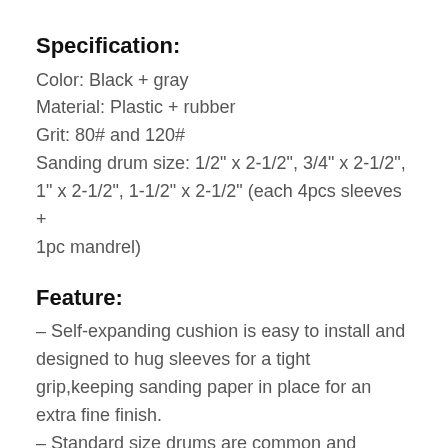Specification:
Color: Black + gray
Material: Plastic + rubber
Grit: 80# and 120#
Sanding drum size: 1/2" x 2-1/2", 3/4" x 2-1/2", 1" x 2-1/2", 1-1/2" x 2-1/2" (each 4pcs sleeves + 1pc mandrel)
Feature:
– Self-expanding cushion is easy to install and designed to hug sleeves for a tight grip,keeping sanding paper in place for an extra fine finish.
– Standard size drums are common and compatible to use with rotary tools such as drill presses and hand power drills.
– It comes with strong storage case for quick